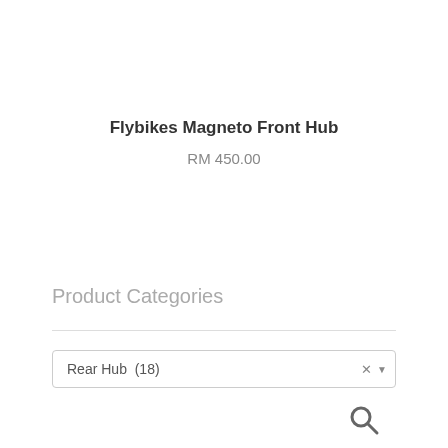Flybikes Magneto Front Hub
RM 450.00
Product Categories
Rear Hub  (18)